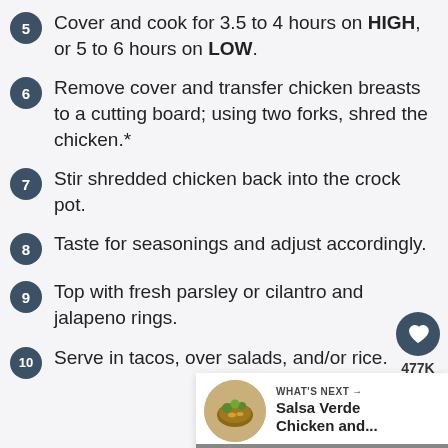5. Cover and cook for 3.5 to 4 hours on HIGH, or 5 to 6 hours on LOW.
6. Remove cover and transfer chicken breasts to a cutting board; using two forks, shred the chicken.*
7. Stir shredded chicken back into the crock pot.
8. Taste for seasonings and adjust accordingly.
9. Top with fresh parsley or cilantro and jalapeno rings.
10. Serve in tacos, over salads, and/or rice.
[Figure (infographic): Heart/like button icon (circle, dark teal) with 477K count below, and a share button (circle, white with share icon)]
WHAT'S NEXT → Salsa Verde Chicken and...